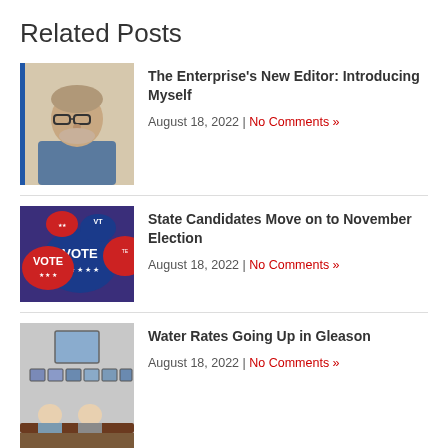Related Posts
The Enterprise's New Editor: Introducing Myself | August 18, 2022 | No Comments »
State Candidates Move on to November Election | August 18, 2022 | No Comments »
Water Rates Going Up in Gleason | August 18, 2022 | No Comments »